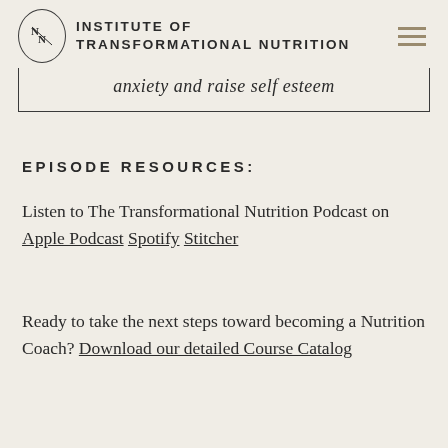INSTITUTE OF TRANSFORMATIONAL NUTRITION
anxiety and raise self esteem
EPISODE RESOURCES:
Listen to The Transformational Nutrition Podcast on Apple Podcast Spotify Stitcher
Ready to take the next steps toward becoming a Nutrition Coach? Download our detailed Course Catalog